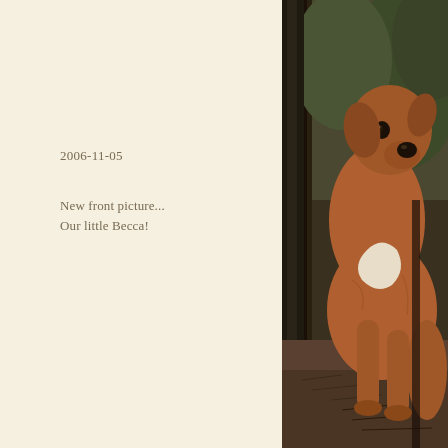2006-11-05
New front picture...
Our little Becca!
[Figure (photo): A brown Rhodesian Ridgeback dog with a white chest marking sitting outdoors on a forest floor with pine needles and trees in the background]